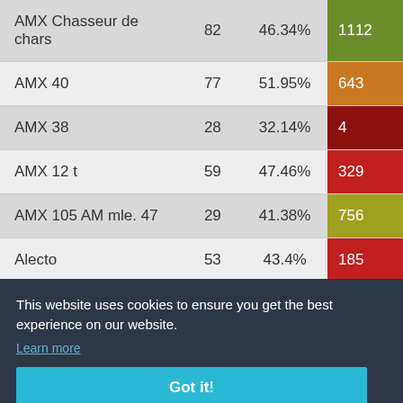| Name |  | % | Count |
| --- | --- | --- | --- |
| AMX Chasseur de chars | 82 | 46.34% | 1112 |
| AMX 40 | 77 | 51.95% | 643 |
| AMX 38 | 28 | 32.14% | 4 |
| AMX 12 t | 59 | 47.46% | 329 |
| AMX 105 AM mle. 47 | 29 | 41.38% | 756 |
| Alecto | 53 | 43.4% | 185 |
| A-20 | 56 | 48.21% | 76 |
This website uses cookies to ensure you get the best experience on our website.
Learn more
Got it!